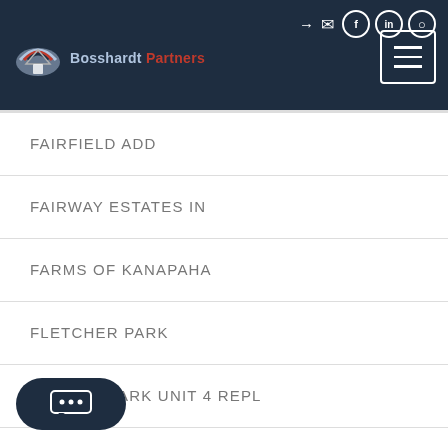[Figure (screenshot): Website header with dark navy background, logo showing house icon and 'Partners' text in red, social media icons, and hamburger menu button]
FAIRFIELD ADD
FAIRWAY ESTATES IN
FARMS OF KANAPAHA
FLETCHER PARK
FLORIDA PARK UNIT 4 REPL
FOREST PARK SUB
...DGE